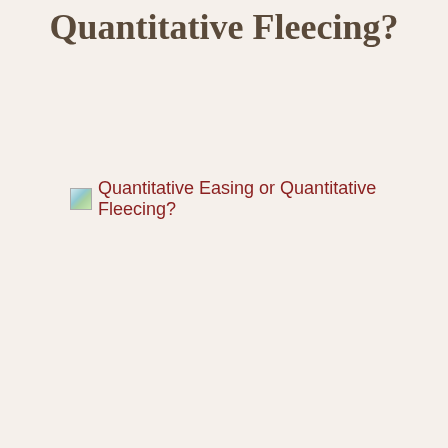Quantitative Fleecing?
[Figure (other): Broken/missing image placeholder with alt text 'Quantitative Easing or Quantitative Fleecing?']